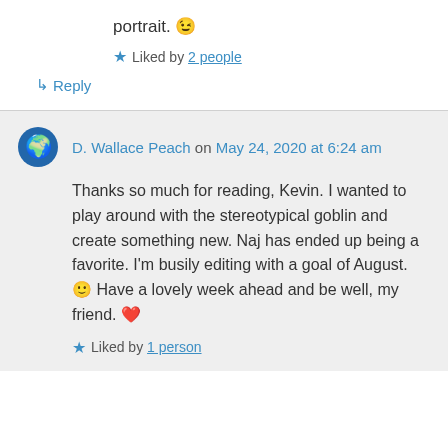portrait. 😉
★ Liked by 2 people
↳ Reply
D. Wallace Peach on May 24, 2020 at 6:24 am
Thanks so much for reading, Kevin. I wanted to play around with the stereotypical goblin and create something new. Naj has ended up being a favorite. I'm busily editing with a goal of August. 🙂 Have a lovely week ahead and be well, my friend. ❤
★ Liked by 1 person